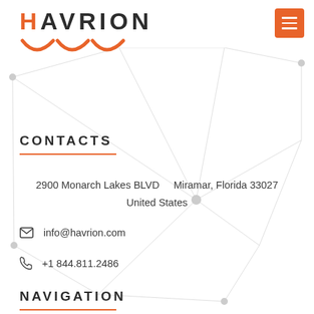[Figure (logo): Havrion company logo with orange H and dark text for AVRION, followed by orange arc swoosh shapes below]
[Figure (infographic): Network graph background with grey nodes and connecting lines spanning the page]
CONTACTS
2900 Monarch Lakes BLVD    Miramar, Florida 33027
United States
✉  info@havrion.com
📞  +1 844.811.2486
NAVIGATION
› Products